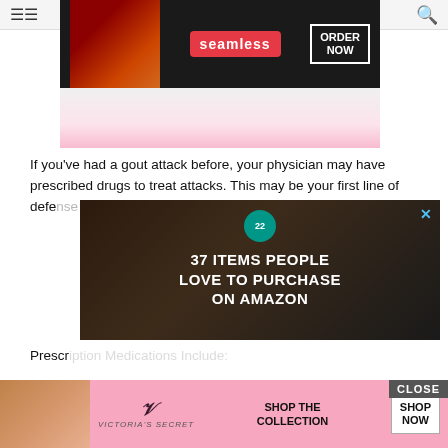≡  [seamless ORDER NOW]  🔍
[Figure (photo): Seamless food delivery advertisement banner with pizza image, red seamless logo, and ORDER NOW button]
[Figure (photo): Pink bowl image partially visible]
If you've had a gout attack before, your physician may have prescribed drugs to treat attacks. This may be your first line of defense against gout. NSAIDs fail to
[Figure (infographic): Amazon advertisement overlay: '22' badge, '37 ITEMS PEOPLE LOVE TO PURCHASE ON AMAZON' with kitchen knives and food background, X close button]
Prescr
Prednisolone oral tablets, which has been shown to work as well as NSAIDs and often doesnt cause the same stomach upset. Prednisolone is a type of corticosteroid and does carry other potential side effects, particularly if it is taken for longer than the recommended 5 days. 4
Col... cing pain... of an atta...
[Figure (photo): Victoria's Secret advertisement: model photo, VS logo, SHOP THE COLLECTION text, SHOP NOW button, CLOSE button]